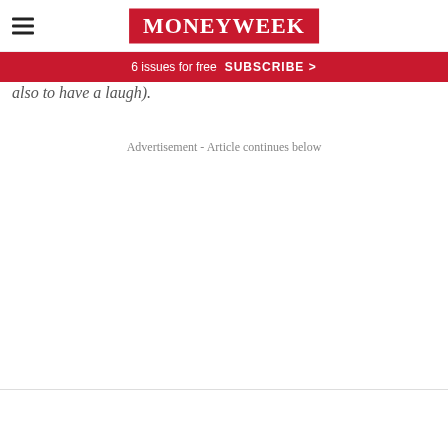MoneyWeek
6 issues for free  SUBSCRIBE >
also to have a laugh).
Advertisement - Article continues below